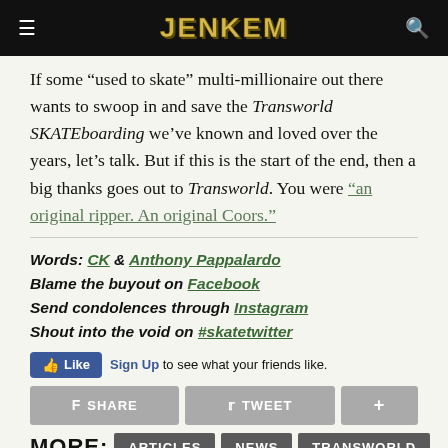JENKEM
If some “used to skate” multi-millionaire out there wants to swoop in and save the Transworld SKATEboarding we’ve known and loved over the years, let’s talk. But if this is the start of the end, then a big thanks goes out to Transworld. You were “an original ripper. An original Coors.”
Words: CK & Anthony Pappalardo
Blame the buyout on Facebook
Send condolences through Instagram
Shout into the void on #skatetwitter
[Figure (infographic): Facebook Like button with Sign Up link and text 'to see what your friends like.']
[Figure (infographic): Social sharing buttons: Share (Facebook), Tweet (Twitter), and plus button]
MORE: ARTICLES  NEWS  TRANSWORLD